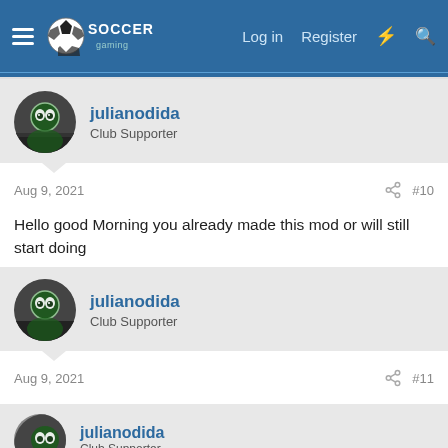Soccer Gaming — Log in | Register
julianodida
Club Supporter
Aug 9, 2021  #10
Hello good Morning you already made this mod or will still start doing
julianodida
Club Supporter
Aug 9, 2021  #11
I already made my mod with a lot of work and if you want to help
julianodida
Club Supporter